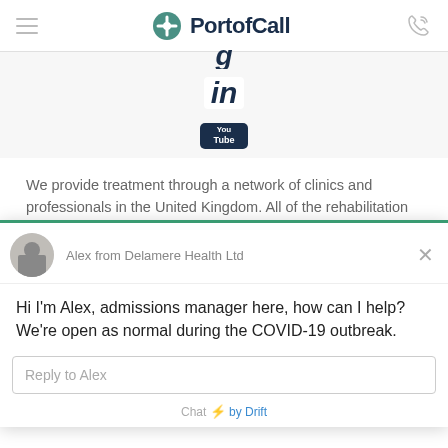PortofCall
[Figure (logo): LinkedIn icon]
[Figure (logo): YouTube icon]
We provide treatment through a network of clinics and professionals in the United Kingdom. All of the rehabilitation clinics we are affiliated with are governed by the Care Quality Commission and our advisors choose the most appropriate ...
Hi I'm Alex, admissions manager here, how can I help? We're open as normal during the COVID-19 outbreak.
experience. We'll assume you're OK with this, but you can opt-out if you wish.   Cookie settings
Chat ⚡ by Drift